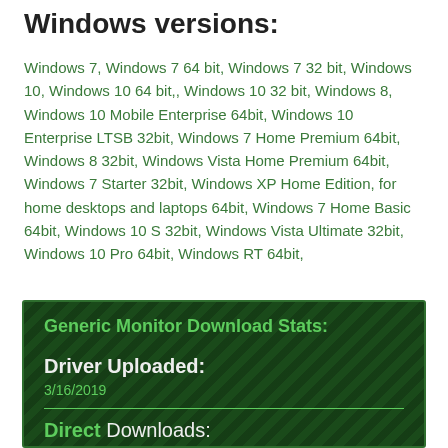Windows versions:
Windows 7, Windows 7 64 bit, Windows 7 32 bit, Windows 10, Windows 10 64 bit,, Windows 10 32 bit, Windows 8, Windows 10 Mobile Enterprise 64bit, Windows 10 Enterprise LTSB 32bit, Windows 7 Home Premium 64bit, Windows 8 32bit, Windows Vista Home Premium 64bit, Windows 7 Starter 32bit, Windows XP Home Edition, for home desktops and laptops 64bit, Windows 7 Home Basic 64bit, Windows 10 S 32bit, Windows Vista Ultimate 32bit, Windows 10 Pro 64bit, Windows RT 64bit,
Generic Monitor Download Stats:
Driver Uploaded:
3/16/2019
Direct Downloads: